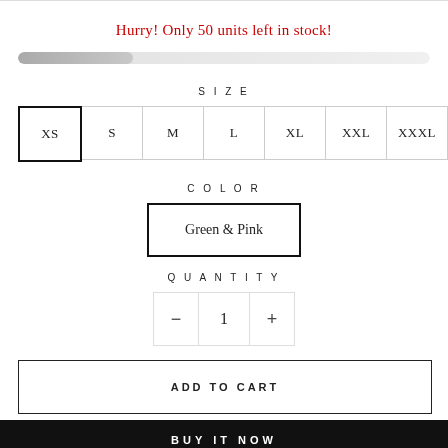Hurry! Only 50 units left in stock!
[Figure (infographic): Horizontal progress bar showing stock level, approximately 28% filled with dark grey gradient on light grey background]
SIZE
XS   S   M   L   XL   XXL   XXXL
COLOR
Green & Pink
QUANTITY
− 1 +
ADD TO CART
BUY IT NOW